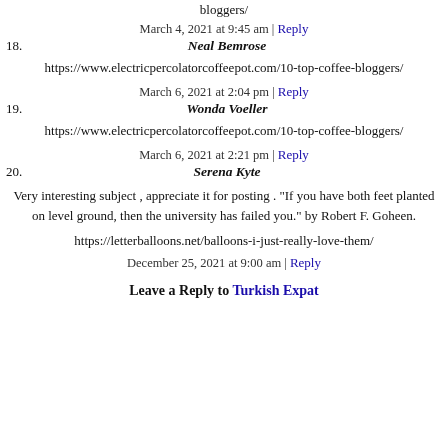bloggers/
March 4, 2021 at 9:45 am | Reply
18. Neal Bemrose
https://www.electricpercolatorcoffeepot.com/10-top-coffee-bloggers/
March 6, 2021 at 2:04 pm | Reply
19. Wonda Voeller
https://www.electricpercolatorcoffeepot.com/10-top-coffee-bloggers/
March 6, 2021 at 2:21 pm | Reply
20. Serena Kyte
Very interesting subject , appreciate it for posting . "If you have both feet planted on level ground, then the university has failed you." by Robert F. Goheen.
https://letterballoons.net/balloons-i-just-really-love-them/
December 25, 2021 at 9:00 am | Reply
Leave a Reply to Turkish Expat